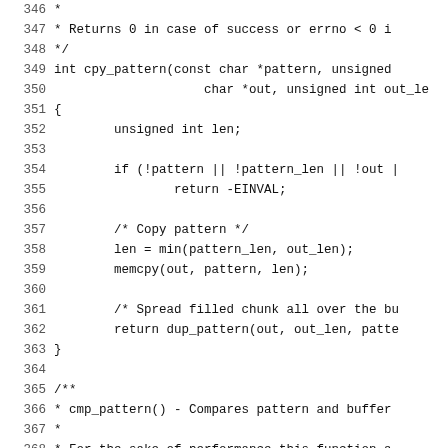Source code listing lines 346–375, showing cpy_pattern and cmp_pattern C functions with line numbers.